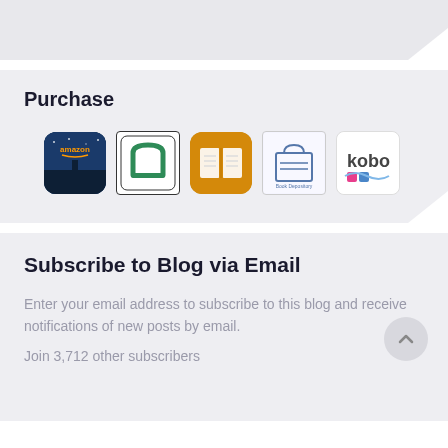Purchase
[Figure (logo): Five store icons in a row: Amazon, Nook, iBooks, BookDepository, Kobo]
Subscribe to Blog via Email
Enter your email address to subscribe to this blog and receive notifications of new posts by email.
Join 3,712 other subscribers